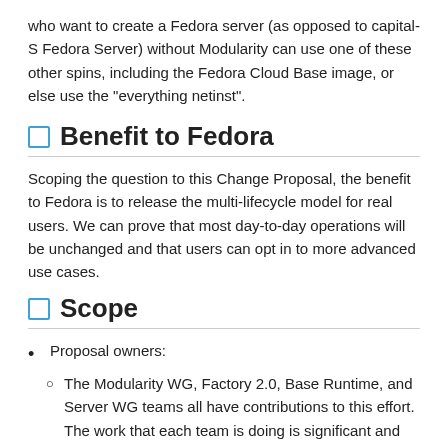who want to create a Fedora server (as opposed to capital-S Fedora Server) without Modularity can use one of these other spins, including the Fedora Cloud Base image, or else use the "everything netinst".
Benefit to Fedora
Scoping the question to this Change Proposal, the benefit to Fedora is to release the multi-lifecycle model for real users. We can prove that most day-to-day operations will be unchanged and that users can opt in to more advanced use cases.
Scope
Proposal owners:
The Modularity WG, Factory 2.0, Base Runtime, and Server WG teams all have contributions to this effort. The work that each team is doing is significant and wide ranging. We are hoping to:
collect and incorporate feedback in to the system